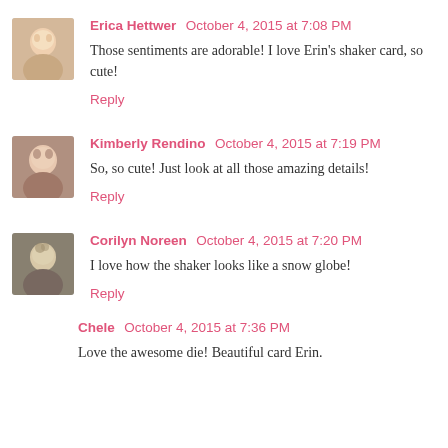Erica Hettwer — October 4, 2015 at 7:08 PM
Those sentiments are adorable! I love Erin's shaker card, so cute!
Reply
Kimberly Rendino — October 4, 2015 at 7:19 PM
So, so cute! Just look at all those amazing details!
Reply
Corilyn Noreen — October 4, 2015 at 7:20 PM
I love how the shaker looks like a snow globe!
Reply
Chele — October 4, 2015 at 7:36 PM
Love the awesome die! Beautiful card Erin.